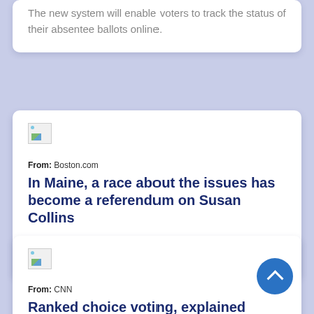The new system will enable voters to track the status of their absentee ballots online.
[Figure (illustration): Broken/placeholder image icon]
From: Boston.com
In Maine, a race about the issues has become a referendum on Susan Collins
It is already the most expensive Senate race in Maine history.
[Figure (illustration): Broken/placeholder image icon]
From: CNN
Ranked choice voting, explained
This year, Maine will be the first state to use ranked choice voting in a federal election.